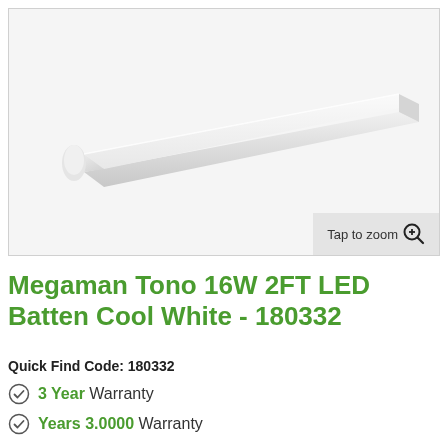[Figure (photo): White LED batten light fixture (Megaman Tono 16W 2FT) shown at an angle on a white background. The fitting is elongated, slim and rectangular with a rounded end cap.]
Megaman Tono 16W 2FT LED Batten Cool White - 180332
Quick Find Code: 180332
3 Year Warranty
Years 3.0000 Warranty